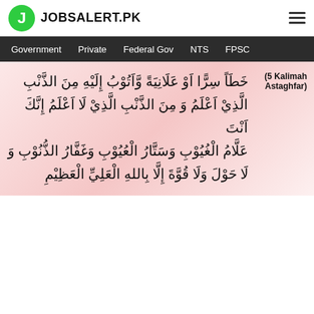JOBSALERT.PK
Government  Private  Federal Gov  NTS  FPSC
(5 Kalimah Astaghfar) خَطَاً سِرًّا اَوْ عَلَانِيَةً وَّاَتُوْبُ إِلَيْهِ مِنَ الذَّنْبِ الَّذِيْ اَعْلَمُ وَ مِنَ الذَّنْبِ الَّذِيْ لَا اَعْلَمُ إِنَّكَ اَنْتَ عَلَّامُ الْغُيُوْبِ وَسَتَّارُ الْعُيُوْبِ وَغَفَّارُ الذُّنُوْبِ وَ لَا حَوْلَ وَلَا قُوَّةَ إِلَّا بِاللهِ الْعَلِيِّ الْعَظِيْمِ